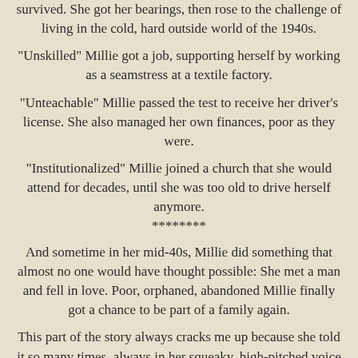survived. She got her bearings, then rose to the challenge of living in the cold, hard outside world of the 1940s.
"Unskilled" Millie got a job, supporting herself by working as a seamstress at a textile factory.
"Unteachable" Millie passed the test to receive her driver's license. She also managed her own finances, poor as they were.
"Institutionalized" Millie joined a church that she would attend for decades, until she was too old to drive herself anymore.
********
And sometime in her mid-40s, Millie did something that almost no one would have thought possible: She met a man and fell in love. Poor, orphaned, abandoned Millie finally got a chance to be part of a family again.
This part of the story always cracks me up because she told it so many times, always in her squeaky, high-pitched voice and accompanied by her funny little trademark grin.